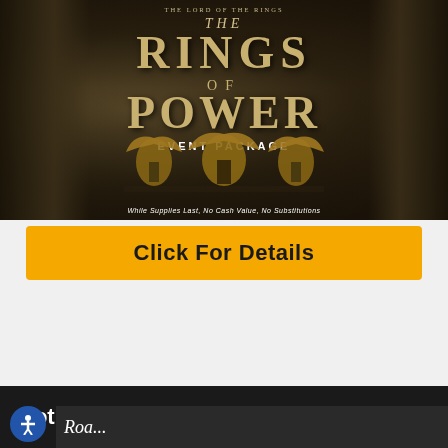[Figure (photo): Promotional banner for The Lord of the Rings: The Rings of Power Event Package, showing fantasy city architecture with armored figures in the foreground. Text overlay reads 'THE RINGS OF POWER EVENT PACKAGE'. Disclaimer: 'While Supplies Last, No Cash Value, No Substitutions']
Click For Details
[Figure (other): Carousel navigation dots (5 total, first one active/dark blue, rest light blue/grey) and a scroll-to-top button (blue square with upward arrow)]
Hot New Trailers
[Figure (photo): Thumbnail image strip at bottom of page, partially visible, with italic text beginning 'Roa...' (truncated)]